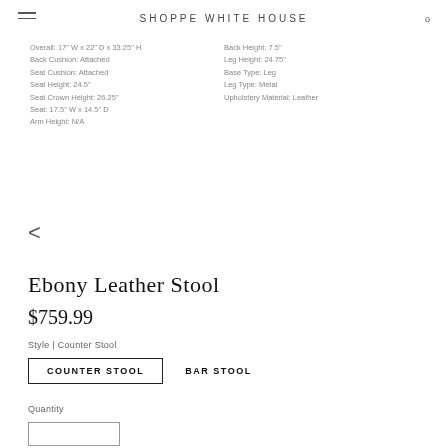SHOPPE WHITE HOUSE
Overall: 17" W x 22" D x 33.25" H
Back Cushion: Attached
Seat Cushion: Attached
Seat Height: 24.5"
Seat Crown Height: 26.25"
Seat: 17.5" W x 14.5" D
Arm Height: N/A
Back Height: 7.5"
Leg Height: 24.75"
Base Type: Leg
Leg Type: Metal
Upholstery Material: Leather
Ebony Leather Stool
$759.99
Style | Counter Stool
COUNTER STOOL   BAR STOOL
Quantity